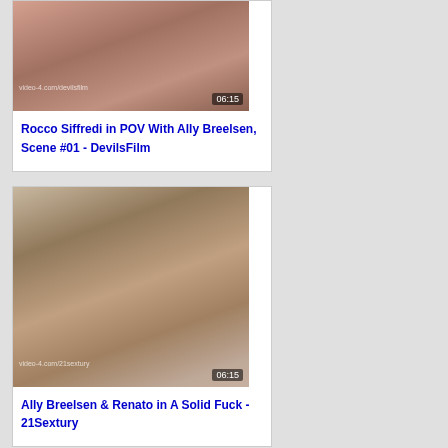[Figure (photo): Video thumbnail showing adult content with timestamp 06:15 and watermark video-4.com/devilsfilm]
Rocco Siffredi in POV With Ally Breelsen, Scene #01 - DevilsFilm
[Figure (photo): Video thumbnail showing adult content with timestamp 06:15 and watermark video-4.com/21sextury]
Ally Breelsen & Renato in A Solid Fuck - 21Sextury
[Figure (photo): Partial video thumbnail showing adult content, card cropped at bottom of page]